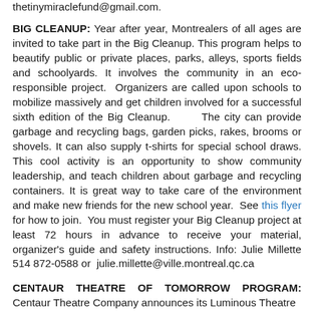thetinymiraclefund@gmail.com.
BIG CLEANUP: Year after year, Montrealers of all ages are invited to take part in the Big Cleanup. This program helps to beautify public or private places, parks, alleys, sports fields and schoolyards. It involves the community in an eco-responsible project. Organizers are called upon schools to mobilize massively and get children involved for a successful sixth edition of the Big Cleanup. The city can provide garbage and recycling bags, garden picks, rakes, brooms or shovels. It can also supply t-shirts for special school draws. This cool activity is an opportunity to show community leadership, and teach children about garbage and recycling containers. It is great way to take care of the environment and make new friends for the new school year. See this flyer for how to join. You must register your Big Cleanup project at least 72 hours in advance to receive your material, organizer's guide and safety instructions. Info: Julie Millette 514 872-0588 or julie.millette@ville.montreal.qc.ca
CENTAUR THEATRE OF TOMORROW PROGRAM: Centaur Theatre Company announces its Luminous Theatre